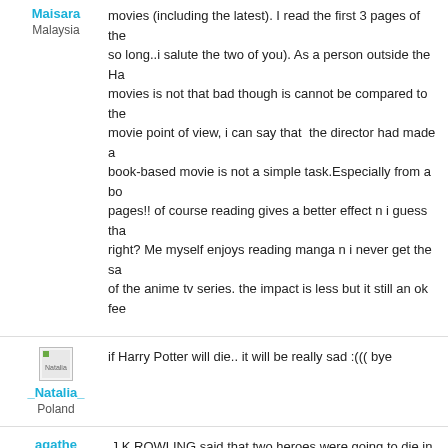Maisara
Malaysia
movies (including the latest). I read the first 3 pages of the book, so long..i salute the two of you). As a person outside the Ha movies is not that bad though is cannot be compared to the movie point of view, i can say that the director had made a book-based movie is not a simple task.Especially from a bo pages!! of course reading gives a better effect n i guess tha right? Me myself enjoys reading manga n i never get the sa of the anime tv series. the impact is less but it still an ok fee
_Natalia_
Poland
if Harry Potter will die.. it will be really sad :((( bye
agathe
France
J.K ROWLING said that two heroes were going to die in th husband answered: No,not them !...
What about Fred and Georges ?